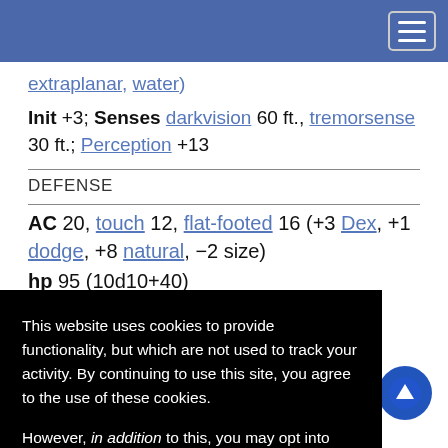[Navigation bar with hamburger menu]
extraplanar, water)
Init +3; Senses darkvision 60 ft., tremorsense 30 ft.; Perception +13
DEFENSE
AC 20, touch 12, flat-footed 16 (+3 Dex, +1 dodge, +8 natural, −2 size)
hp 95 (10d10+40)
Fort +11, Ref +10, Will +3
This website uses cookies to provide functionality, but which are not used to track your activity. By continuing to use this site, you agree to the use of these cookies.

However, in addition to this, you may opt into your activity being tracked in order to help us improve our service.

For more information, please click here
OK  No, thank you